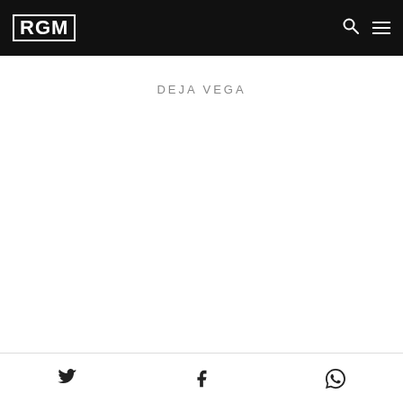RGM
DEJA VEGA
Twitter | Facebook | WhatsApp